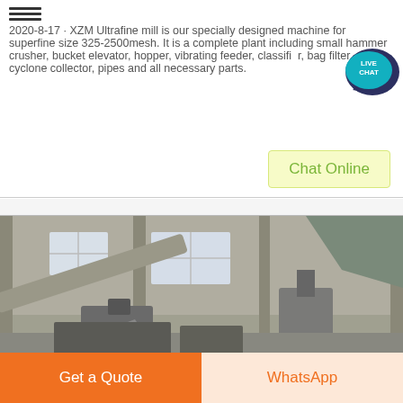2020-8-17 · XZM Ultrafine mill is our specially designed machine for superfine size 325-2500mesh. It is a complete plant including small hammer crusher, bucket elevator, hopper, vibrating feeder, classifier, bag filter, cyclone collector, pipes and all necessary parts.
[Figure (other): Live chat bubble icon with LIVE CHAT text in teal/dark blue speech bubble]
Chat Online
[Figure (photo): Interior of an industrial facility showing milling equipment, metal frameworks, pipes, hoppers, and machinery inside a concrete building with windows]
Get a Quote
WhatsApp